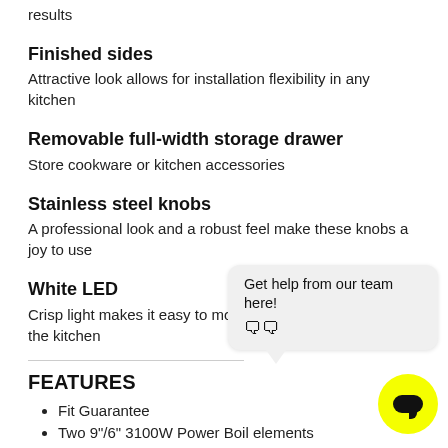results
Finished sides
Attractive look allows for installation flexibility in any kitchen
Removable full-width storage drawer
Store cookware or kitchen accessories
Stainless steel knobs
A professional look and a robust feel make these knobs a joy to use
White LED
Crisp light makes it easy to monitor the display from across the kitchen
Get help from our team here! 🗨🗨
FEATURES
Fit Guarantee
Two 9"/6" 3100W Power Boil elements
Self-clean oven